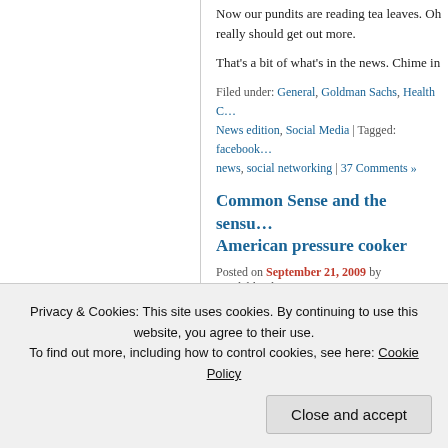Now our pundits are reading tea leaves. Oh really should get out more.
That's a bit of what's in the news. Chime in
Filed under: General, Goldman Sachs, Health C… News edition, Social Media | Tagged: facebook… news, social networking | 37 Comments »
Common Sense and the sensu… American pressure cooker
Posted on September 21, 2009 by Mapleblood…
[Figure (photo): Partial view of an old painting or artwork with warm brown and red tones]
Privacy & Cookies: This site uses cookies. By continuing to use this website, you agree to their use. To find out more, including how to control cookies, see here: Cookie Policy